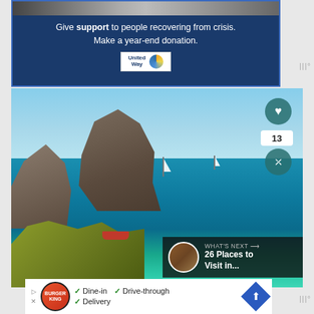[Figure (screenshot): United Way advertisement banner with dark blue background. Text reads 'Give support to people recovering from crisis. Make a year-end donation.' with United Way logo.]
Give support to people recovering from crisis. Make a year-end donation.
[Figure (photo): Scenic ocean photo showing rocky island (likely Es Vedrà, Ibiza), clear turquoise water, sailboats, and lush green vegetation in foreground. Heart button (like), share count 13, and share button visible on right side. 'What's Next' overlay shows '26 Places to Visit in...']
[Figure (screenshot): Burger King advertisement showing Dine-in, Drive-through, and Delivery options with checkmarks and navigation icon.]